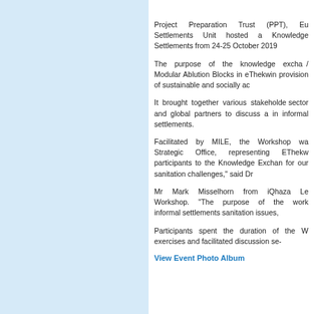[Figure (photo): Light blue panel on the left side of the page]
Project Preparation Trust (PPT), Eu Settlements Unit hosted a Knowledge Settlements from 24-25 October 2019
The purpose of the knowledge excha / Modular Ablution Blocks in eThekwin provision of sustainable and socially ac
It brought together various stakeholde sector and global partners to discuss a in informal settlements.
Facilitated by MILE, the Workshop wa Strategic Office, representing EThekw participants to the Knowledge Exchan for our sanitation challenges," said Dr
Mr Mark Misselhorn from iQhaza Le Workshop. "The purpose of the work informal settlements sanitation issues,
Participants spent the duration of the W exercises and facilitated discussion se-
View Event Photo Album